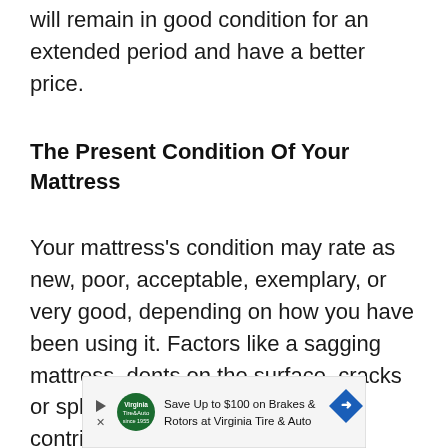will remain in good condition for an extended period and have a better price.
The Present Condition Of Your Mattress
Your mattress's condition may rate as new, poor, acceptable, exemplary, or very good, depending on how you have been using it. Factors like a sagging mattress, dents on the surface, cracks or splits in the sleep surface may contribute to poor or unacceptable conditions. It may also not be sellable if
[Figure (other): Advertisement banner: Save Up to $100 on Brakes & Rotors at Virginia Tire & Auto, with Virginia Tire & Auto logo and directional arrow icon]